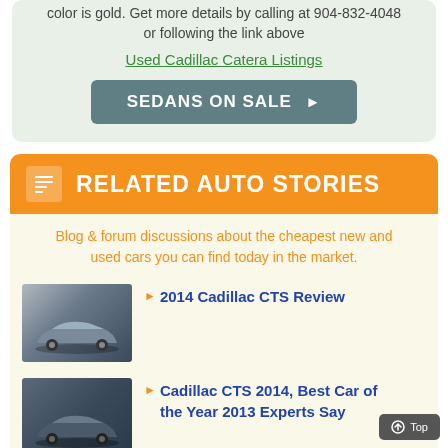color is gold. Get more details by calling at 904-832-4048 or following the link above
Used Cadillac Catera Listings
SEDANS ON SALE ▶
RELATED AUTO STORIES
Blog & forum discussions about the cheapest new and used cars you can find today in the market.
[Figure (photo): Thumbnail photo of a 2014 Cadillac CTS sedan, silver/grey color]
2014 Cadillac CTS Review
[Figure (photo): Thumbnail photo of a Cadillac CTS 2014, dark color]
Cadillac CTS 2014, Best Car of the Year 2013 Experts Say